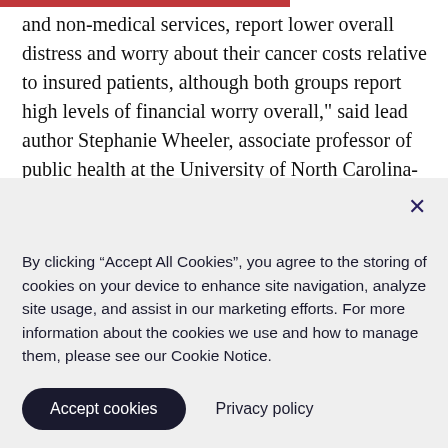and non-medical services, report lower overall distress and worry about their cancer costs relative to insured patients, although both groups report high levels of financial worry overall," said lead author Stephanie Wheeler, associate professor of public health at the University of North Carolina-Chapel Hill.
By clicking “Accept All Cookies”, you agree to the storing of cookies on your device to enhance site navigation, analyze site usage, and assist in our marketing efforts. For more information about the cookies we use and how to manage them, please see our Cookie Notice.
Accept cookies
Privacy policy